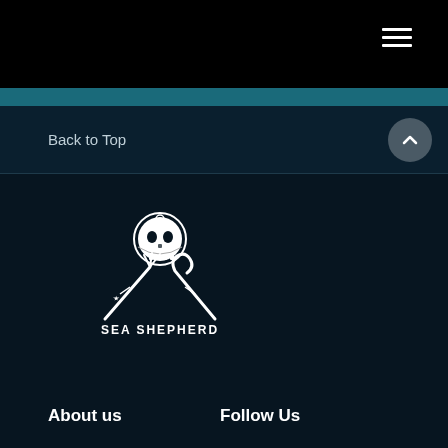Back to Top
[Figure (logo): Sea Shepherd logo — skull with crossed trident and hook, text SEA SHEPHERD below]
About us
Follow Us